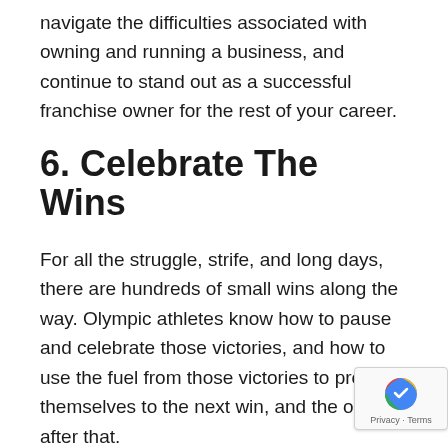navigate the difficulties associated with owning and running a business, and continue to stand out as a successful franchise owner for the rest of your career.
6. Celebrate The Wins
For all the struggle, strife, and long days, there are hundreds of small wins along the way. Olympic athletes know how to pause and celebrate those victories, and how to use the fuel from those victories to propel themselves to the next win, and the one after that.
As you work to achieve your goals, don't get so focused on the end game that you forget to be thankful for where you are now. Your hard work and commitment is commendable, and you've got